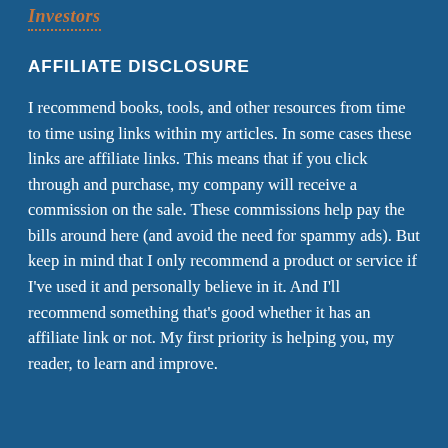Investors
AFFILIATE DISCLOSURE
I recommend books, tools, and other resources from time to time using links within my articles. In some cases these links are affiliate links. This means that if you click through and purchase, my company will receive a commission on the sale. These commissions help pay the bills around here (and avoid the need for spammy ads). But keep in mind that I only recommend a product or service if I've used it and personally believe in it. And I'll recommend something that's good whether it has an affiliate link or not. My first priority is helping you, my reader, to learn and improve.